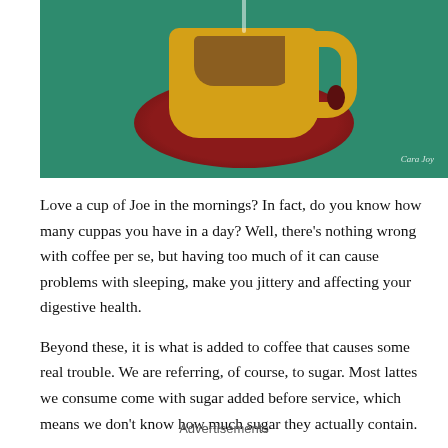[Figure (illustration): Painted illustration of a yellow coffee cup with handle on a red/dark saucer, set against a teal/green background. Artist signature in bottom right corner.]
Love a cup of Joe in the mornings? In fact, do you know how many cuppas you have in a day? Well, there's nothing wrong with coffee per se, but having too much of it can cause problems with sleeping, make you jittery and affecting your digestive health.
Beyond these, it is what is added to coffee that causes some real trouble. We are referring, of course, to sugar. Most lattes we consume come with sugar added before service, which means we don't know how much sugar they actually contain.
Advertisements